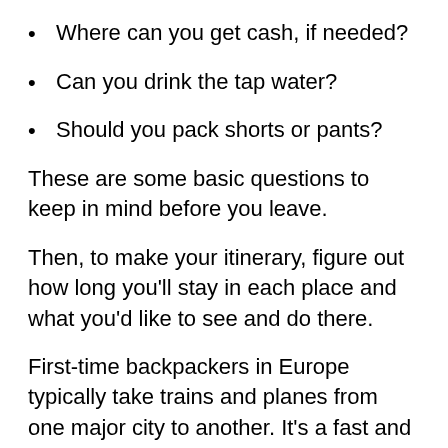Where can you get cash, if needed?
Can you drink the tap water?
Should you pack shorts or pants?
These are some basic questions to keep in mind before you leave.
Then, to make your itinerary, figure out how long you'll stay in each place and what you'd like to see and do there.
First-time backpackers in Europe typically take trains and planes from one major city to another. It's a fast and efficient way to see many European capitals in one trip.